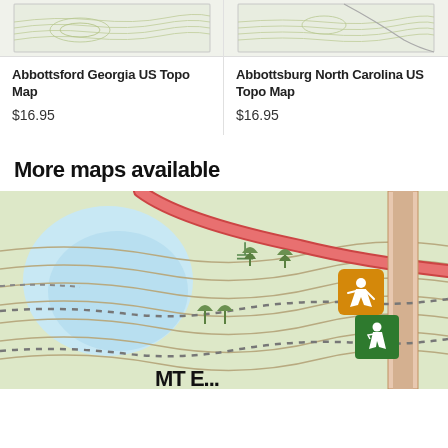[Figure (illustration): Thumbnail of Abbottsford Georgia US Topo Map showing topographic map imagery]
[Figure (illustration): Thumbnail of Abbottsburg North Carolina US Topo Map showing topographic map imagery]
Abbottsford Georgia US Topo Map
$16.95
Abbottsburg North Carolina US Topo Map
$16.95
More maps available
[Figure (map): Colorful illustrated topographic trail map showing contour lines, water body (light blue), roads (red/pink curves), trail markers (orange hiker sign, green pedestrian sign), dashed trails, vegetation markers, and partial text 'MT E...' at bottom]